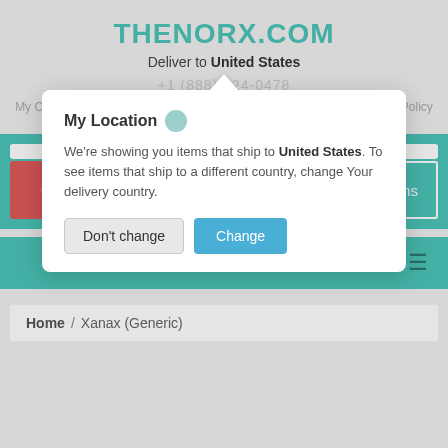THENORX.COM
Deliver to United States
My Orders  |  Contact Us  |  FAQ  |  Delivery  |  Money back  |  Privacy Policy
[Figure (screenshot): My Location popup modal with text: We're showing you items that ship to United States. To see items that ship to a different country, change Your delivery country. Buttons: Don't change | Change]
GO
My Cart: 0 items
Home / Xanax (Generic)